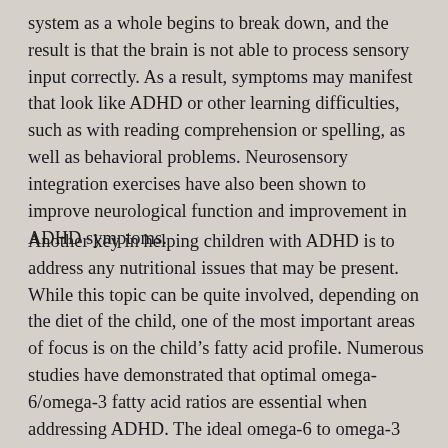system as a whole begins to break down, and the result is that the brain is not able to process sensory input correctly. As a result, symptoms may manifest that look like ADHD or other learning difficulties, such as with reading comprehension or spelling, as well as behavioral problems. Neurosensory integration exercises have also been shown to improve neurological function and improvement in ADHD symptoms.
Another key in helping children with ADHD is to address any nutritional issues that may be present. While this topic can be quite involved, depending on the diet of the child, one of the most important areas of focus is on the child's fatty acid profile. Numerous studies have demonstrated that optimal omega-6/omega-3 fatty acid ratios are essential when addressing ADHD. The ideal omega-6 to omega-3 ratio is 1.5:1, with 4:1 being good. Once a person has greater than a 10:1 ratio, they are at high risk for many conditions, including neurological conditions such as ADHD. The typical omega-